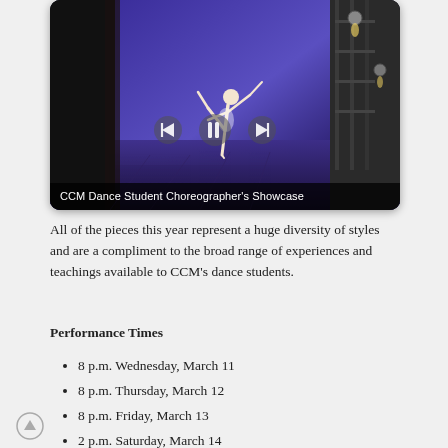[Figure (photo): A female dancer performing on a purple-lit stage, with stage lighting and rigging visible. Media player controls (back, pause, forward) overlay the bottom portion. The image is inside a rounded dark container.]
CCM Dance Student Choreographer's Showcase
All of the pieces this year represent a huge diversity of styles and are a compliment to the broad range of experiences and teachings available to CCM's dance students.
Performance Times
8 p.m. Wednesday, March 11
8 p.m. Thursday, March 12
8 p.m. Friday, March 13
2 p.m. Saturday, March 14